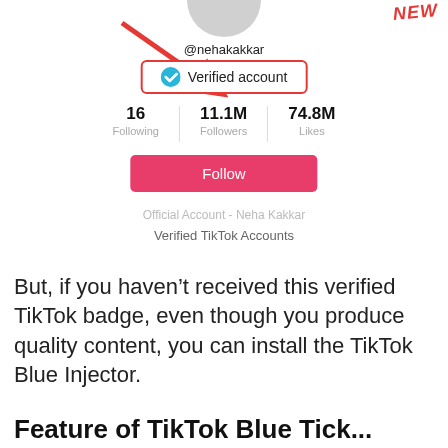[Figure (screenshot): TikTok profile screenshot of @nehakakkar showing verified account badge with red arrow pointing to it, stats: 16 Following, 11.1M Followers, 74.8M Likes, Follow button, Official Account - Neha Kakkar label, Verified TikTok Accounts text. Red 'NEW' tag in top right.]
But, if you haven't received this verified TikTok badge, even though you produce quality content, you can install the TikTok Blue Injector.
Feature of TikTok Blue Tick...